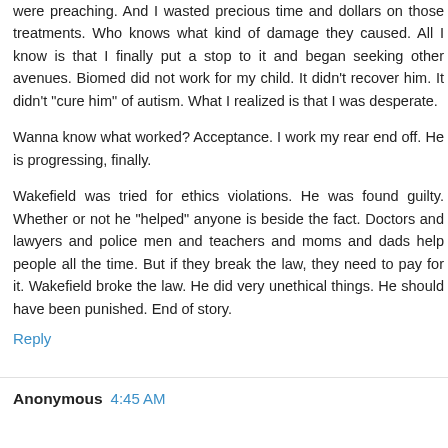were preaching. And I wasted precious time and dollars on those treatments. Who knows what kind of damage they caused. All I know is that I finally put a stop to it and began seeking other avenues. Biomed did not work for my child. It didn't recover him. It didn't "cure him" of autism. What I realized is that I was desperate.
Wanna know what worked? Acceptance. I work my rear end off. He is progressing, finally.
Wakefield was tried for ethics violations. He was found guilty. Whether or not he "helped" anyone is beside the fact. Doctors and lawyers and police men and teachers and moms and dads help people all the time. But if they break the law, they need to pay for it. Wakefield broke the law. He did very unethical things. He should have been punished. End of story.
Reply
Anonymous 4:45 AM